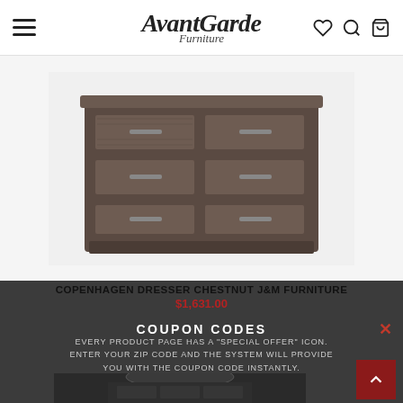AvantGarde Furniture
[Figure (photo): Copenhagen Dresser Chestnut J&M Furniture product photo - dark brown/gray 6-drawer dresser with horizontal bar handles]
COPENHAGEN DRESSER CHESTNUT J&M FURNITURE
$1,631.00
COUPON CODES
EVERY PRODUCT PAGE HAS A "SPECIAL OFFER" ICON. ENTER YOUR ZIP CODE AND THE SYSTEM WILL PROVIDE YOU WITH THE COUPON CODE INSTANTLY.
[Figure (photo): Dark ornate dresser with mirror visible in background through dark overlay]